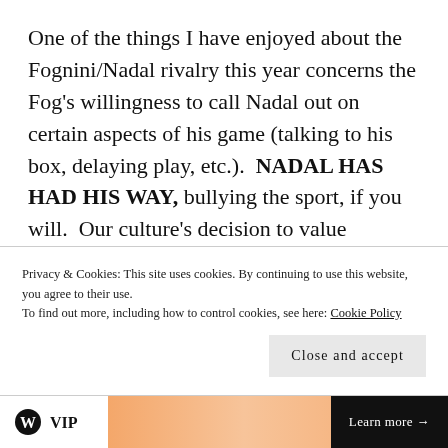One of the things I have enjoyed about the Fognini/Nadal rivalry this year concerns the Fog's willingness to call Nadal out on certain aspects of his game (talking to his box, delaying play, etc.).  NADAL HAS HAD HIS WAY, bullying the sport, if you will.  Our culture's decision to value championships above everything else finds a perfectly finished product in Nadal.  He has most likely done very questionable things to his body (aside from his mind, at least for today) in
Privacy & Cookies: This site uses cookies. By continuing to use this website, you agree to their use.
To find out more, including how to control cookies, see here: Cookie Policy
Close and accept